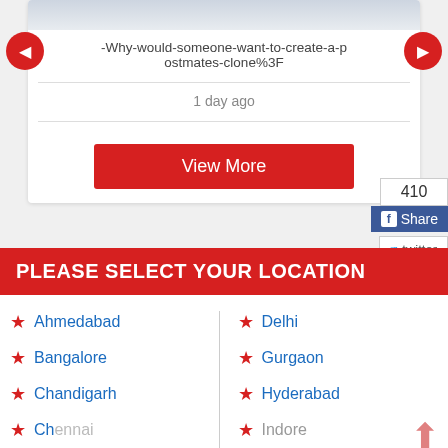[Figure (screenshot): Top portion of a website card with a light blue/grey image area at top, left and right red circle navigation arrows, a URL slug text, a horizontal divider, a timestamp, and a red View More button]
-Why-would-someone-want-to-create-a-postmates-clone%3F
1 day ago
View More
410
Share
twitter
PLEASE SELECT YOUR LOCATION
Ahmedabad
Bangalore
Chandigarh
Chennai
Delhi
Gurgaon
Hyderabad
Indore